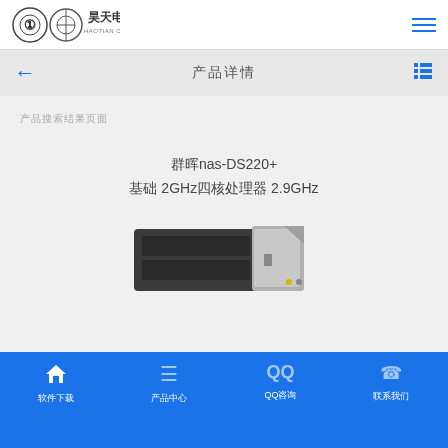昊天电脑 HAOTIAN COMPUTER
产品详情
产品搜索结果页面
群晖nas-DS220+
基础 2GHz四核处理器 2.9GHz
[Figure (photo): Synology NAS DS220+ device photo - a compact rectangular NAS enclosure in dark gray and silver colors]
软件下载  产品中心  QQ咨询  联系我们